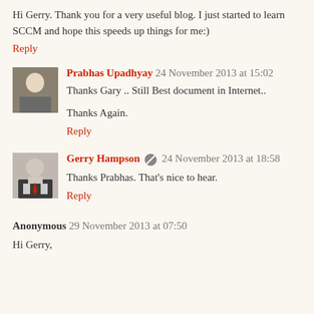Hi Gerry. Thank you for a very useful blog. I just started to learn SCCM and hope this speeds up things for me:)
Reply
Prabhas Upadhyay 24 November 2013 at 15:02
Thanks Gary .. Still Best document in Internet..

Thanks Again.
Reply
Gerry Hampson 24 November 2013 at 18:58
Thanks Prabhas. That's nice to hear.
Reply
Anonymous 29 November 2013 at 07:50
Hi Gerry,